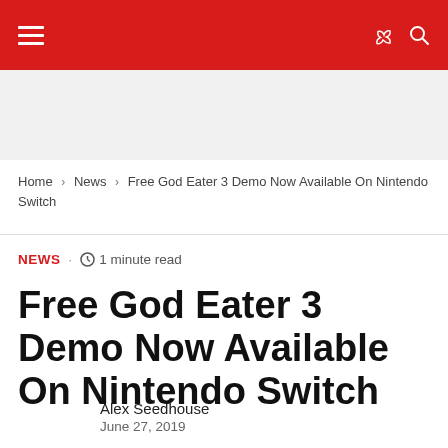Navigation header with hamburger menu, moon icon, and search icon
Home › News › Free God Eater 3 Demo Now Available On Nintendo Switch
NEWS · ⏱ 1 minute read
Free God Eater 3 Demo Now Available On Nintendo Switch
Alex Seedhouse
June 27, 2019